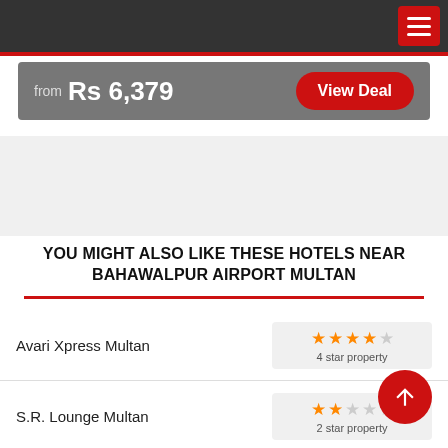Navigation bar with hamburger menu
from  Rs 6,379
View Deal
YOU MIGHT ALSO LIKE THESE HOTELS NEAR BAHAWALPUR AIRPORT MULTAN
Avari Xpress Multan — 4 star property
S.R. Lounge Multan — 2 star property
Hotel Laxen Inn — 3 star property
Hotel Alkahf Multan — 2 star property